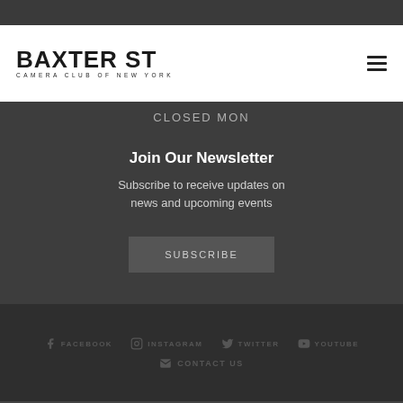BAXTER ST CAMERA CLUB OF NEW YORK
CLOSED MON
Join Our Newsletter
Subscribe to receive updates on news and upcoming events
SUBSCRIBE
FACEBOOK  INSTAGRAM  TWITTER  YOUTUBE  CONTACT US